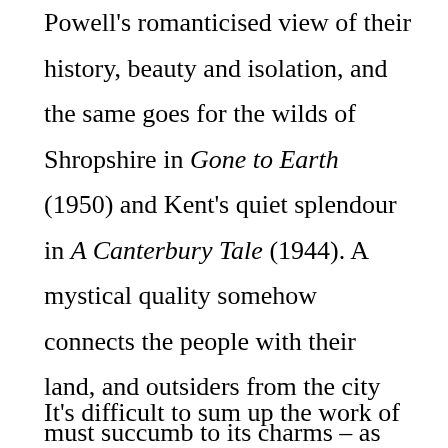Powell's romanticised view of their history, beauty and isolation, and the same goes for the wilds of Shropshire in Gone to Earth (1950) and Kent's quiet splendour in A Canterbury Tale (1944). A mystical quality somehow connects the people with their land, and outsiders from the city must succumb to its charms – as seen in The Edge of the World, A Canterbury Tale, I Know Where I'm Going! and Gone to Earth.
It's difficult to sum up the work of this most